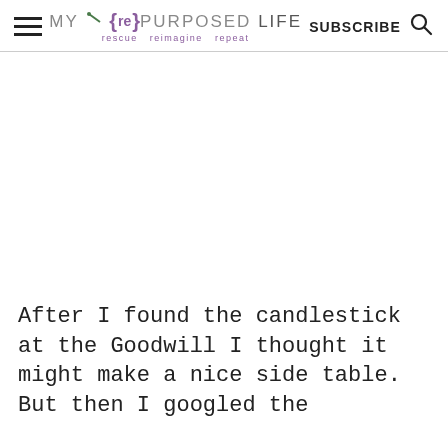MY {re} PURPOSED LIFE — rescue reimagine repeat — SUBSCRIBE
[Figure (other): Large white/blank image placeholder area for a blog post image]
After I found the candlestick at the Goodwill I thought it might make a nice side table. But then I googled the